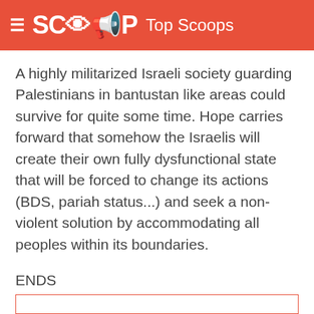≡ SCOOP Top Scoops
A highly militarized Israeli society guarding Palestinians in bantustan like areas could survive for quite some time. Hope carries forward that somehow the Israelis will create their own fully dysfunctional state that will be forced to change its actions (BDS, pariah status...) and seek a non-violent solution by accommodating all peoples within its boundaries.
ENDS
© Scoop Media